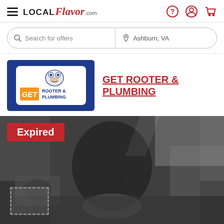LOCAL Flavor .com
Search for offers | Ashburn, VA
[Figure (logo): Get Rooter & Plumbing company logo on dark blue background]
GET ROOTER & PLUMBING
[Figure (photo): Grayscale photo of a plumber working outdoors with tools, with an 'Expired' red badge overlay in the top left corner]